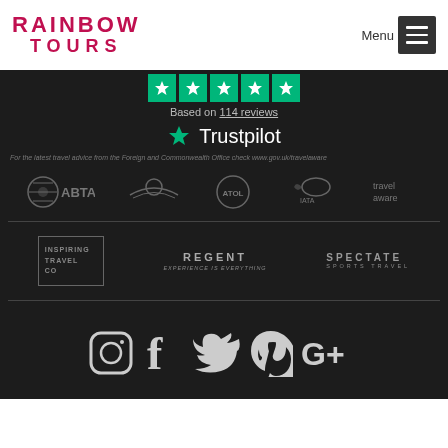RAINBOW TOURS
Based on 114 reviews
[Figure (logo): Trustpilot logo with green star]
For the latest travel advice from the Foreign and Commonwealth Office check www.gov.uk/travelaware
[Figure (logo): ABTA, IATA, ATOL, IATA bird, Travel Aware logos]
[Figure (logo): Inspiring Travel Co, Regent, Spectate Sports Travel logos]
[Figure (illustration): Social media icons: Instagram, Facebook, Twitter, Pinterest, Google+]